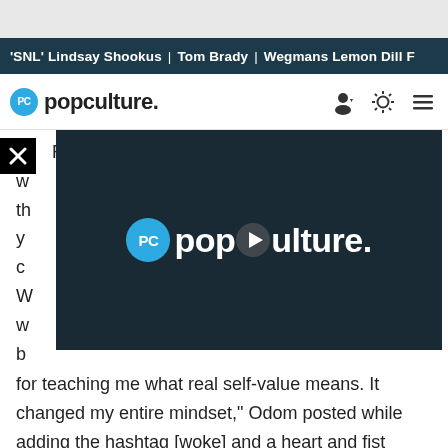'SNL' Lindsay Shookus | Tom Brady | Wegmans Lemon Dill F…
[Figure (logo): PopCulture.com logo with PC badge and navigation icons]
[Figure (screenshot): Video player overlay showing PopCulture logo with play button on dark background]
for teaching me what real self-value means. It changed my entire mindset," Odom posted while adding the hashtag [woke] and a heart and fist emoji in the caption.